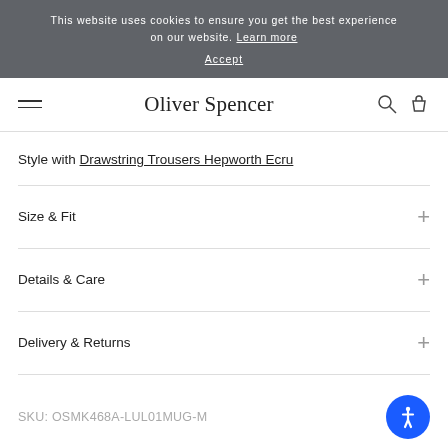This website uses cookies to ensure you get the best experience on our website. Learn more
Accept
Oliver Spencer
Style with Drawstring Trousers Hepworth Ecru
Size & Fit
Details & Care
Delivery & Returns
SKU: OSMK468A-LUL01MUG-M